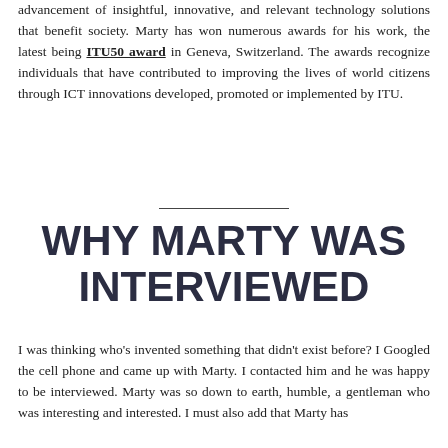advancement of insightful, innovative, and relevant technology solutions that benefit society. Marty has won numerous awards for his work, the latest being ITU50 award in Geneva, Switzerland. The awards recognize individuals that have contributed to improving the lives of world citizens through ICT innovations developed, promoted or implemented by ITU.
WHY MARTY WAS INTERVIEWED
I was thinking who's invented something that didn't exist before? I Googled the cell phone and came up with Marty. I contacted him and he was happy to be interviewed. Marty was so down to earth, humble, a gentleman who was interesting and interested. I must also add that Marty has